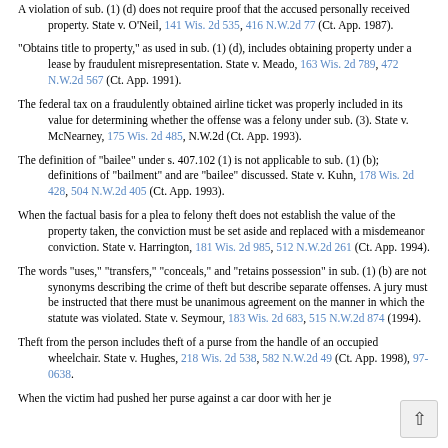property and be separately convicted for transferring that property. State v. Tappa, 127 Wis. 2d 155, 378 N.W.2d 883 (1985).
A violation of sub. (1) (d) does not require proof that the accused personally received property. State v. O'Neil, 141 Wis. 2d 535, 416 N.W.2d 77 (Ct. App. 1987).
"Obtains title to property," as used in sub. (1) (d), includes obtaining property under a lease by fraudulent misrepresentation. State v. Meado, 163 Wis. 2d 789, 472 N.W.2d 567 (Ct. App. 1991).
The federal tax on a fraudulently obtained airline ticket was properly included in its value for determining whether the offense was a felony under sub. (3). State v. McNearney, 175 Wis. 2d 485, N.W.2d (Ct. App. 1993).
The definition of "bailee" under s. 407.102 (1) is not applicable to sub. (1) (b); definitions of "bailment" and are "bailee" discussed. State v. Kuhn, 178 Wis. 2d 428, 504 N.W.2d 405 (Ct. App. 1993).
When the factual basis for a plea to felony theft does not establish the value of the property taken, the conviction must be set aside and replaced with a misdemeanor conviction. State v. Harrington, 181 Wis. 2d 985, 512 N.W.2d 261 (Ct. App. 1994).
The words "uses," "transfers," "conceals," and "retains possession" in sub. (1) (b) are not synonyms describing the crime of theft but describe separate offenses. A jury must be instructed that there must be unanimous agreement on the manner in which the statute was violated. State v. Seymour, 183 Wis. 2d 683, 515 N.W.2d 874 (1994).
Theft from the person includes theft of a purse from the handle of an occupied wheelchair. State v. Hughes, 218 Wis. 2d 538, 582 N.W.2d 49 (Ct. App. 1998), 97-0638.
When the victim had pushed her purse against a car door with her je